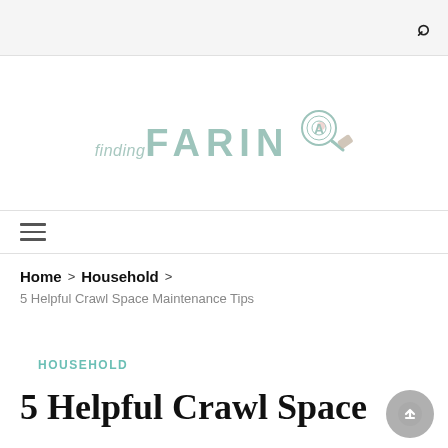finding FARINA [logo with magnifying glass]
Home > Household > 5 Helpful Crawl Space Maintenance Tips
HOUSEHOLD
5 Helpful Crawl Space